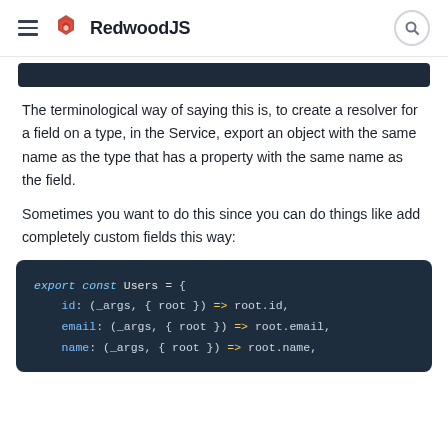RedwoodJS
The terminological way of saying this is, to create a resolver for a field on a type, in the Service, export an object with the same name as the type that has a property with the same name as the field.
Sometimes you want to do this since you can do things like add completely custom fields this way:
[Figure (screenshot): Code block showing: export const Users = { id: (_args, { root }) => root.id, email: (_args, { root }) => root.email, name: (_args, { root }) => root.name,]